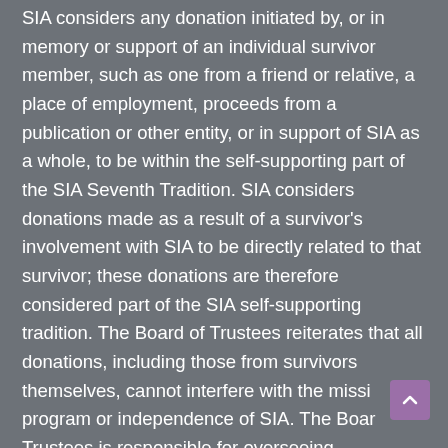SIA considers any donation initiated by, or in memory or support of an individual survivor member, such as one from a friend or relative, a place of employment, proceeds from a publication or other entity, or in support of SIA as a whole, to be within the self-supporting part of the SIA Seventh Tradition. SIA considers donations made as a result of a survivor's involvement with SIA to be directly related to that survivor; these donations are therefore considered part of the SIA self-supporting tradition. The Board of Trustees reiterates that all donations, including those from survivors themselves, cannot interfere with the mission program or independence of SIA. The Board of Trustees is responsible for overseeing